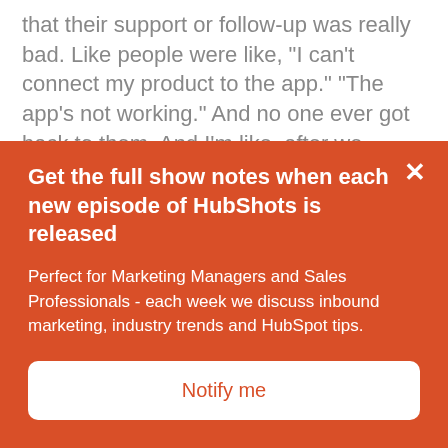that their support or follow-up was really bad. Like people were like, "I can't connect my product to the app." "The app's not working." And no one ever got back to them. And I'm like, after we implemented HubSpot, and I got all this through, I was like, "Guys you've actually got another problem." "It's not to do with the product it's to do with all the things that come after people get the product in their hands. And we need to address that to solve the problem." Because how do you get raving fans, Craig? Is... They're going to think about that last experience that they had that
Get the full show notes when each new episode of HubShots is released
Perfect for Marketing Managers and Sales Professionals - each week we discuss inbound marketing, industry trends and HubSpot tips.
Notify me